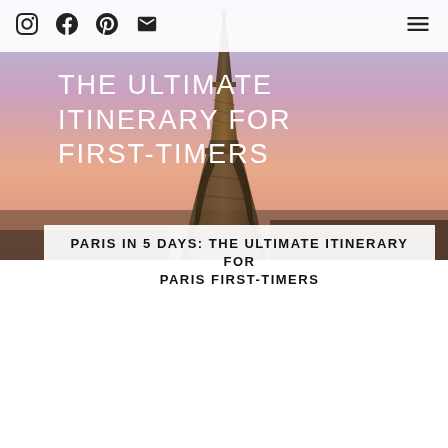Social icons: Instagram, Facebook, Pinterest, Email | Hamburger menu
[Figure (photo): Hero image of the Eiffel Tower at dusk/sunset with pink and purple sky gradient. White bold text overlaid reads: THE ULTIMATE ITINERARY FOR FIRST-TIMERS]
PARIS IN 5 DAYS: THE ULTIMATE ITINERARY FOR PARIS FIRST-TIMERS